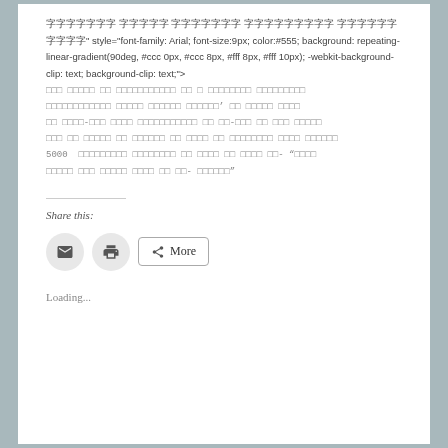[corrupted/non-latin text] 5000 [corrupted/non-latin text] - "[corrupted/non-latin text]"
Share this:
[Figure (infographic): Share buttons: email icon (circular grey button), print icon (circular grey button), More button with share icon]
Loading...